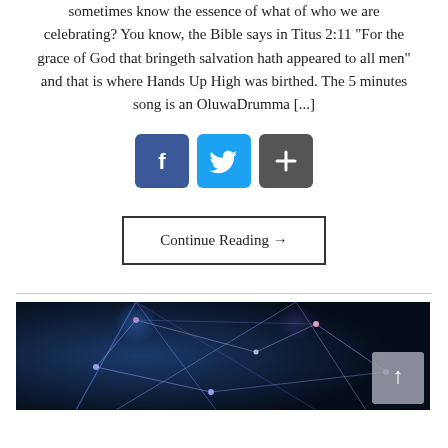sometimes know the essence of what of who we are celebrating? You know, the Bible says in Titus 2:11 “For the grace of God that bringeth salvation hath appeared to all men” and that is where Hands Up High was birthed. The 5 minutes song is an OluwaDrumma [...]
[Figure (other): Three social sharing icons: Facebook (blue), Twitter (light blue), and a share/add button (gray)]
Continue Reading →
[Figure (photo): Dark blue photo with light beams and connected geometric network lines on a stage or abstract background, with a scroll-to-top button in the bottom right corner.]